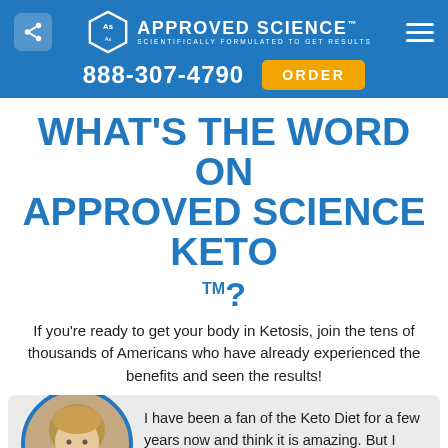Approved Science™ — SCIENTIFICALLY FORMULATED TO GET RESULTS | 888-307-4790 | ORDER
WHAT'S THE WORD ON APPROVED SCIENCE KETO™?
If you're ready to get your body in Ketosis, join the tens of thousands of Americans who have already experienced the benefits and seen the results!
I have been a fan of the Keto Diet for a few years now and think it is amazing. But I wanted a boost so